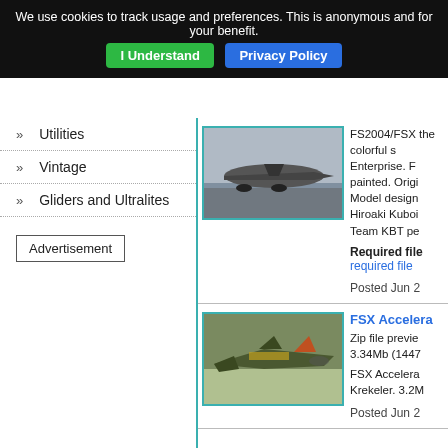We use cookies to track usage and preferences. This is anonymous and for your benefit.  I Understand  Privacy Policy
Utilities
Vintage
Gliders and Ultralites
Advertisement
[Figure (photo): Aircraft on tarmac, side view, gray sky background]
FS2004/FSX the colorful Enterprise. F painted. Orig Model desig Hiroaki Kubot Team KBT pe
Required file
required file
Posted Jun 2
[Figure (photo): FSX military jet fighter on runway, green/yellow camouflage paint scheme]
FSX Accelera Zip file previe 3.34Mb (1447
FSX Accelera Krekeler. 3.2M
Posted Jun 2